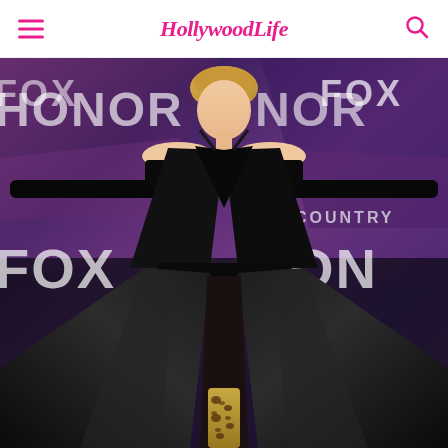Hollywood Life
[Figure (photo): A woman wearing a dramatic black halter gown with a deep V-neckline, cold-shoulder design, long black velvet gloves, and a full skirt with a high slit, posing on a red carpet in front of a purple/blue backdrop with FOX and CMT HONOR branding. She is wearing leopard-print boots visible through the slit.]